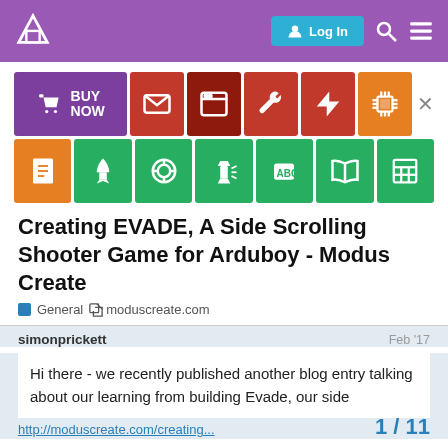Log In [nav bar with logo, search, menu]
[Figure (infographic): Two rows of colored icon tiles: BUY NOW (purple with cart icon), envelope (red), window (dark red), tools (dark red), lightning bolt (dark red), chip (orange); row 2: document (orange), rocket (green), life ring (green), flashlight (green), ABC block (green), open book (green), spreadsheet (green)]
Creating EVADE, A Side Scrolling Shooter Game for Arduboy - Modus Create
General  moduscreate.com
simonprickett    Feb '17
Hi there - we recently published another blog entry talking about our learning from building Evade, our side
1 / 11